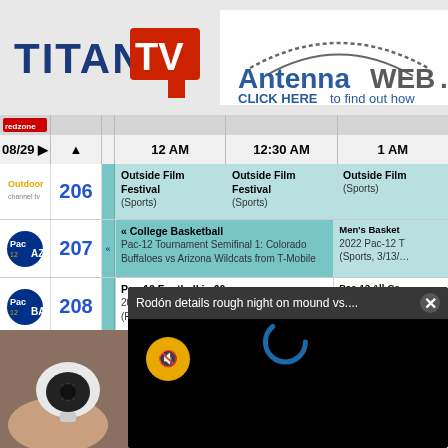[Figure (logo): TitanTV logo — blue bold TITAN with red TV box]
[Figure (logo): AntennaWeb logo with CLICK HERE to find out how text]
| Channel | Num |  | 12 AM | 12:30 AM | 1 AM |
| --- | --- | --- | --- | --- | --- |
| Pac12 AZ | 206 |  | Outside Film Festival (Sports) | Outside Film Festival (Sports) | Outside Film (Sports) |
| Pac12 AZ | 207 | « | College Basketball Pac-12 Tournament Semifinal 1: Colorado Buffaloes vs Arizona Wildcats from T-Mobile |  | Men's Basket 2022 Pac-12 T (Sports, 3/13/… |
| Pac12 BA | 208 |  | Pac-12 Football in 60 2017 Stanford at Washington State (Repeat, Sports) |  | Pac-12 All-Ce Football Team (Sports, 12/01… |
| Pac12 LA | 209 | « | Won… Cal St… from W… |  |  |
| Pac12 MT | 210 |  | Pa… 20… (R… |  |  |
Rodón details rough night on mound vs....
[Figure (screenshot): Video player overlay with mute button and loading spinner on black background]
[Figure (photo): Hand holding a white security camera device]